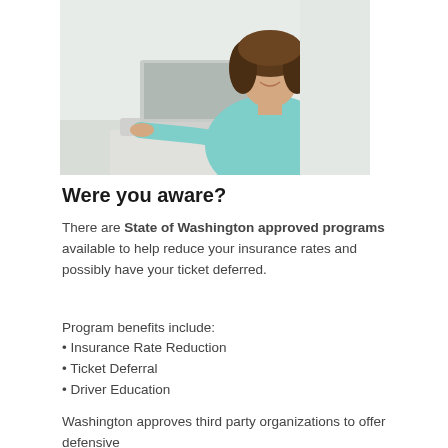[Figure (photo): Young woman with curly hair smiling while using a laptop computer on a white desk]
Were you aware?
There are State of Washington approved programs available to help reduce your insurance rates and possibly have your ticket deferred.
Program benefits include:
Insurance Rate Reduction
Ticket Deferral
Driver Education
Washington approves third party organizations to offer defensive